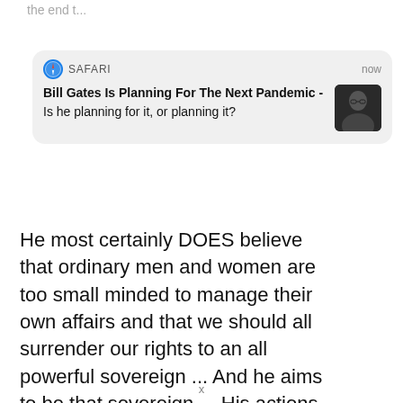the end t...
[Figure (screenshot): Safari browser notification card showing headline 'Bill Gates Is Planning For The Next Pandemic -' with subtitle 'Is he planning for it, or planning it?' and a thumbnail photo of Bill Gates on the right. Header shows Safari icon, SAFARI label, and timestamp 'now'.]
He most certainly DOES believe that ordinary men and women are too small minded to manage their own affairs and that we should all surrender our rights to an all powerful sovereign ... And he aims to be that sovereign ... His actions at every turn PROVE that beyond any doubt.
He is a megalomaniac, psychopathic sociopath